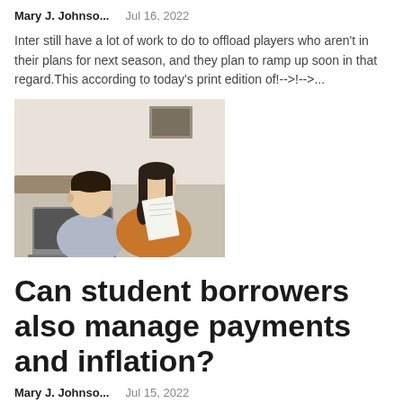Mary J. Johnso...   Jul 16, 2022
Inter still have a lot of work to do to offload players who aren't in their plans for next season, and they plan to ramp up soon in that regard.This according to today's print edition of!-->!-->...
[Figure (photo): Two people, a man and a woman, sitting together looking at a laptop and documents]
Can student borrowers also manage payments and inflation?
Mary J. Johnso...   Jul 15, 2022